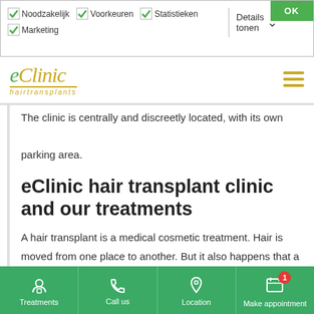[Figure (screenshot): Cookie consent bar with checkboxes for Noodzakelijk, Voorkeuren, Statistieken, Marketing, a Details tonen dropdown, and an OK button in green]
[Figure (logo): eClinic hairtransplants logo in gold/green italic serif font with gold underline, hamburger menu icon on right]
The clinic is centrally and discreetly located, with its own parking area.
eClinic hair transplant clinic and our treatments
A hair transplant is a medical cosmetic treatment. Hair is moved from one place to another. But it also happens that a hair transplant is done to repair the result of a hair disease or skin condition. Baldness can be a result of various causes.
Treatments | Call us | Location | Make appointment